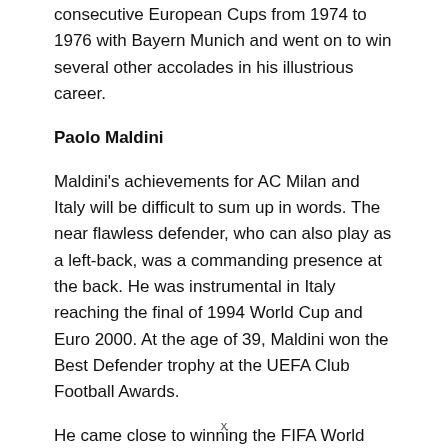consecutive European Cups from 1974 to 1976 with Bayern Munich and went on to win several other accolades in his illustrious career.
Paolo Maldini
Maldini's achievements for AC Milan and Italy will be difficult to sum up in words. The near flawless defender, who can also play as a left-back, was a commanding presence at the back. He was instrumental in Italy reaching the final of 1994 World Cup and Euro 2000. At the age of 39, Maldini won the Best Defender trophy at the UEFA Club Football Awards.
He came close to winning the FIFA World Player of the Year in 1995 only to finish it second. He was third in the Ballon d'Or for 1994 and 1995. He was an all 25...
x